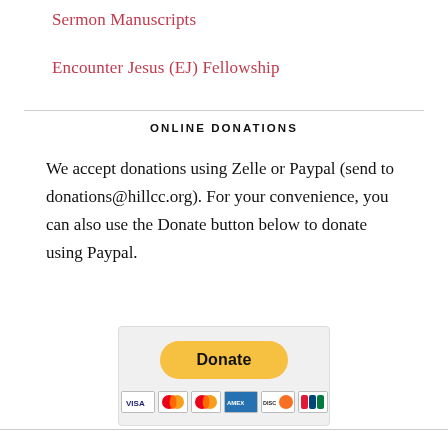Sermon Manuscripts
Encounter Jesus (EJ) Fellowship
ONLINE DONATIONS
We accept donations using Zelle or Paypal (send to donations@hillcc.org). For your convenience, you can also use the Donate button below to donate using Paypal.
[Figure (other): PayPal Donate button with credit card logos (VISA, Mastercard, Mastercard, American Express, Discover, UnionPay)]